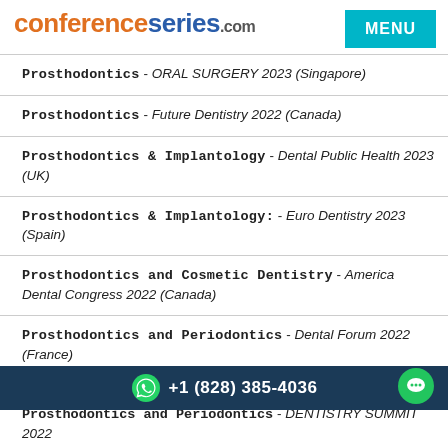conferenceseries.com | MENU
Prosthodontics - ORAL SURGERY 2023 (Singapore)
Prosthodontics - Future Dentistry 2022 (Canada)
Prosthodontics & Implantology - Dental Public Health 2023 (UK)
Prosthodontics & Implantology: - Euro Dentistry 2023 (Spain)
Prosthodontics and Cosmetic Dentistry - America Dental Congress 2022 (Canada)
Prosthodontics and Periodontics - Dental Forum 2022 (France)
Prosthodontics and Periodontics - Euro Dental Congress-2022 (Italy)
+1 (828) 385-4036
Prosthodontics and Periodontics - DENTISTRY SUMMIT 2022